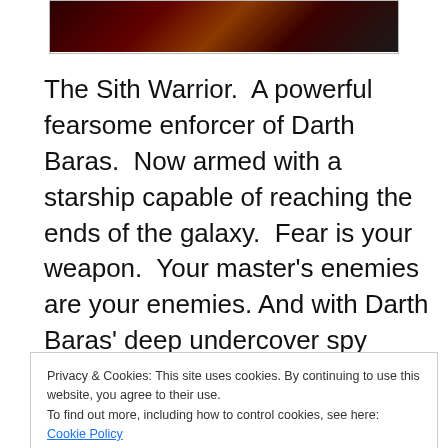[Figure (photo): Partial image of characters, darkly lit, appearing to be from a game or cinematic scene]
The Sith Warrior.  A powerful fearsome enforcer of Darth Baras.  Now armed with a starship capable of reaching the ends of the galaxy.  Fear is your weapon.  Your master's enemies are your enemies. And with Darth Baras' deep undercover spy network being found out and eliminated, it falls to you as the servant of your master's will to put a stop to
Privacy & Cookies: This site uses cookies. By continuing to use this website, you agree to their use.
To find out more, including how to control cookies, see here: Cookie Policy
Baras' spy on Balmorra is a big shot officer in